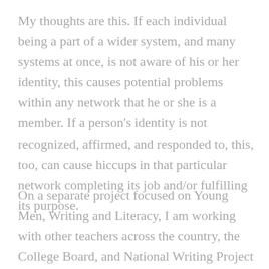My thoughts are this. If each individual being a part of a wider system, and many systems at once, is not aware of his or her identity, this causes potential problems within any network that he or she is a member. If a person's identity is not recognized, affirmed, and responded to, this, too, can cause hiccups in that particular network completing its job and/or fulfilling its purpose.
On a separate project focused on Young Men, Writing and Literacy, I am working with other teachers across the country, the College Board, and National Writing Project to examine how to